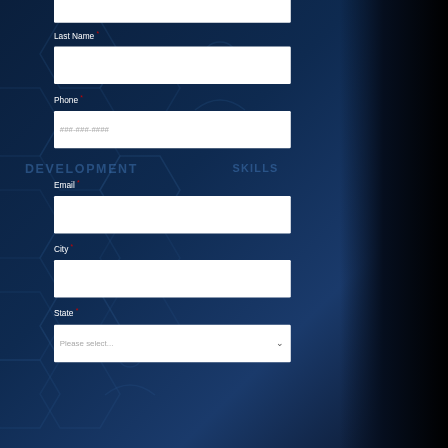Last Name *
Phone *
###-###-####
Email *
City *
State *
Please select...